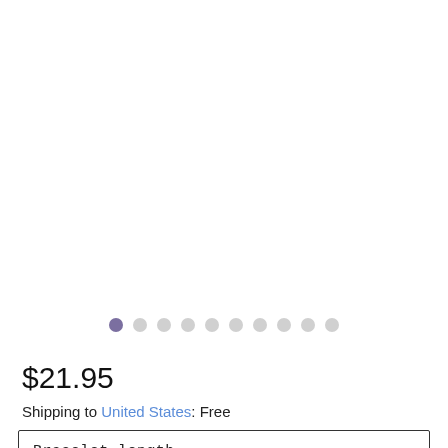[Figure (other): Row of 10 pagination dots; first dot is filled purple/mauve, remaining 9 are light gray]
$21.95
Shipping to United States: Free
Bracelet length